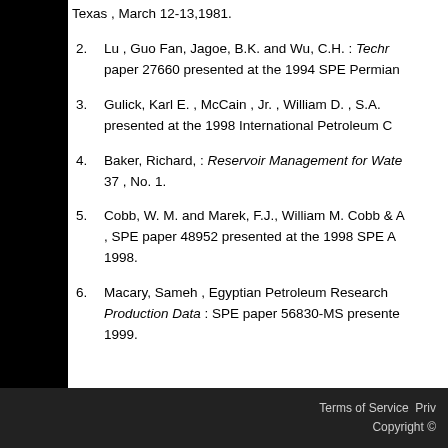Texas , March 12-13,1981.
2. Lu , Guo Fan, Jagoe, B.K. and Wu, C.H. : Techr paper 27660 presented at the 1994 SPE Permian
3. Gulick, Karl E. , McCain , Jr. , William D. , S.A. presented at the 1998 International Petroleum C
4. Baker, Richard, : Reservoir Management for Wate 37 , No. 1.
5. Cobb, W. M. and Marek, F.J., William M. Cobb & A , SPE paper 48952 presented at the 1998 SPE A 1998.
6. Macary, Sameh , Egyptian Petroleum Research Production Data : SPE paper 56830-MS presente 1999.
Terms of Service  Priv Copyright ©